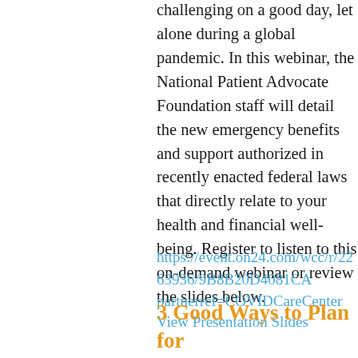challenging on a good day, let alone during a global pandemic. In this webinar, the National Patient Advocate Foundation staff will detail the new emergency benefits and support authorized in recently enacted federal laws that directly relate to your health and financial well-being. Register to listen to this on-demand webinar or review the slides below.
https://event.on24.com/wcc/r/2263936/9B8B20D4081CA partnerref=COVIDCareCenter
View Presentation Slides
3 Good Ways to Plan for Your COVID-19 Care Right